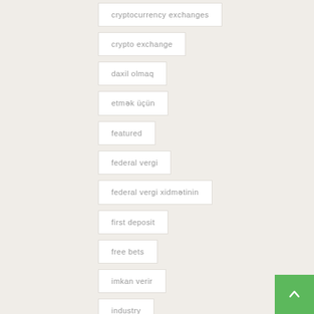cryptocurrency exchanges
crypto exchange
daxil olmaq
etmək üçün
featured
federal vergi
federal vergi xidmətinin
first deposit
free bets
imkan verir
industry